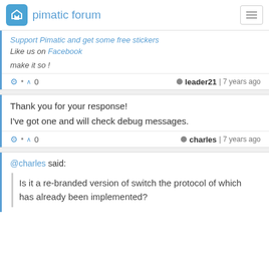pimatic forum
Support Pimatic and get some free stickers
Like us on Facebook

make it so !
leader21 | 7 years ago
Thank you for your response!

I've got one and will check debug messages.
charles | 7 years ago
@charles said:

Is it a re-branded version of switch the protocol of which has already been implemented?